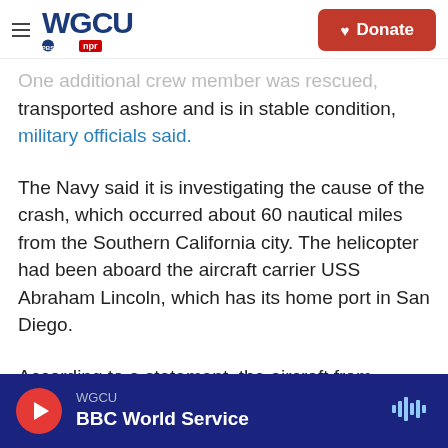WGCU PBS NPR | Donate
One additional crew member was rescued, transported ashore and is in stable condition, military officials said.
The Navy said it is investigating the cause of the crash, which occurred about 60 nautical miles from the Southern California city. The helicopter had been aboard the aircraft carrier USS Abraham Lincoln, which has its home port in San Diego.
According to a statement, the aircraft from Helicopter Sea Combat Squadron 8 was operating on deck before it crashed into the water.
WGCU BBC World Service